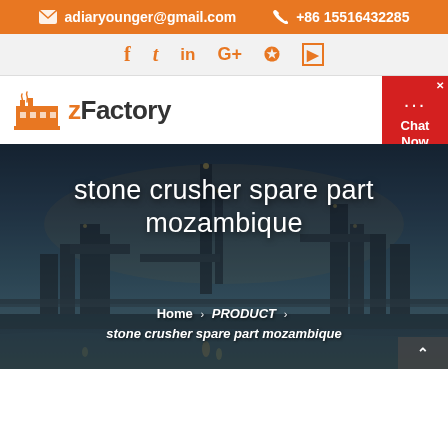adiaryounger@gmail.com  +86 15516432285
[Figure (other): Social media icons bar: facebook, twitter, linkedin, google+, pinterest, youtube]
[Figure (logo): zFactory logo with orange factory icon and bold text 'zFactory']
[Figure (photo): Industrial factory/refinery at dusk with water reflection, dark blue-grey sky, with text overlay 'stone crusher spare part mozambique' and breadcrumb navigation]
stone crusher spare part mozambique
Home > PRODUCT > stone crusher spare part mozambique